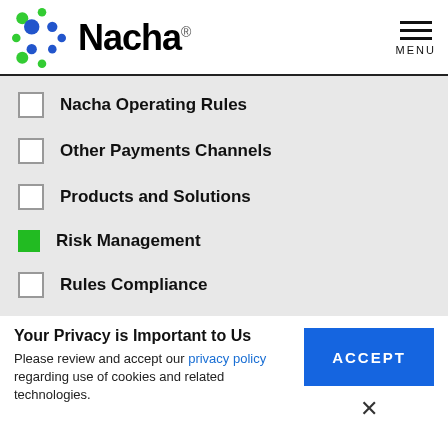[Figure (logo): Nacha logo with colorful dot grid pattern and 'Nacha' wordmark in bold black text]
Nacha Operating Rules
Other Payments Channels
Products and Solutions
Risk Management (checked/selected)
Rules Compliance
Your Privacy is Important to Us
Please review and accept our privacy policy regarding use of cookies and related technologies.
ACCEPT